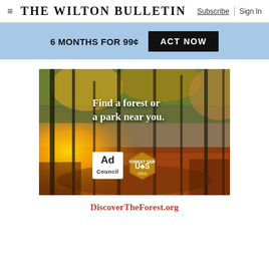The Wilton Bulletin | Subscribe | Sign In
6 MONTHS FOR 99¢  ACT NOW
[Figure (photo): Advertisement for DiscoverTheForest.org showing an autumn forest scene with sunlight filtering through trees and fallen leaves. Text reads 'Find a forest or a park near you.' with Ad Council and US Forest Service logos.]
DiscoverTheForest.org